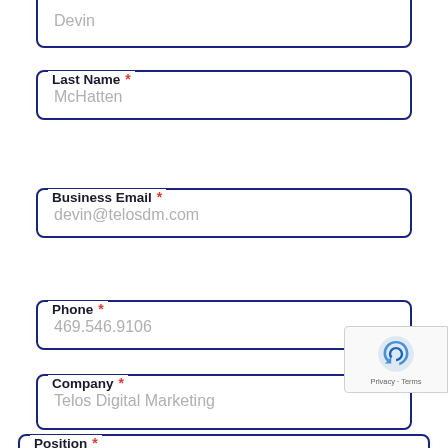[Figure (screenshot): Partial web form showing filled input fields: Last Name (McHatten), Business Email (devin@telosdm.com), Phone (469.546.9106), Company (Telos Digital Marketing), and a partially visible Position field. Each field has a navy blue border with a floating label and red asterisk for required fields. A reCAPTCHA badge appears in the bottom right corner.]